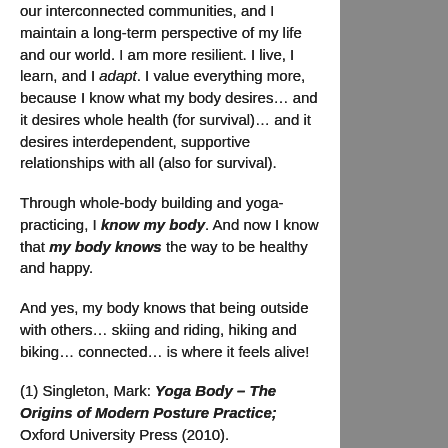our interconnected communities, and I maintain a long-term perspective of my life and our world. I am more resilient. I live, I learn, and I adapt. I value everything more, because I know what my body desires… and it desires whole health (for survival)… and it desires interdependent, supportive relationships with all (also for survival).
Through whole-body building and yoga-practicing, I know my body. And now I know that my body knows the way to be healthy and happy.
And yes, my body knows that being outside with others… skiing and riding, hiking and biking… connected… is where it feels alive!
(1) Singleton, Mark: Yoga Body – The Origins of Modern Posture Practice; Oxford University Press (2010).